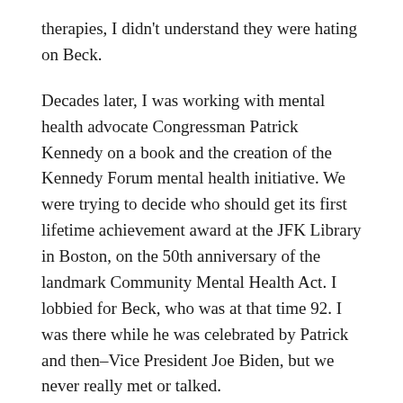therapies, I didn't understand they were hating on Beck.
Decades later, I was working with mental health advocate Congressman Patrick Kennedy on a book and the creation of the Kennedy Forum mental health initiative. We were trying to decide who should get its first lifetime achievement award at the JFK Library in Boston, on the 50th anniversary of the landmark Community Mental Health Act. I lobbied for Beck, who was at that time 92. I was there while he was celebrated by Patrick and then–Vice President Joe Biden, but we never really met or talked.
When I arrived at his apartment that first day in August of 2019, our sandwiches were at the ready. His tuna on wheat was already unwrapped so he could feel